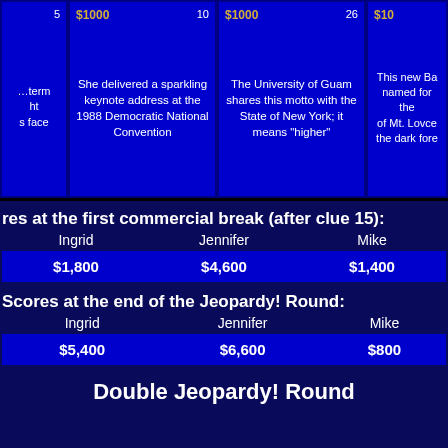[Figure (other): Jeopardy game board showing three clue cells with $1000 values and clue text]
Scores at the first commercial break (after clue 15):
| Ingrid | Jennifer | Mike |
| --- | --- | --- |
| $1,800 | $4,600 | $1,400 |
Scores at the end of the Jeopardy! Round:
| Ingrid | Jennifer | Mike |
| --- | --- | --- |
| $5,400 | $6,600 | $800 |
Double Jeopardy! Round